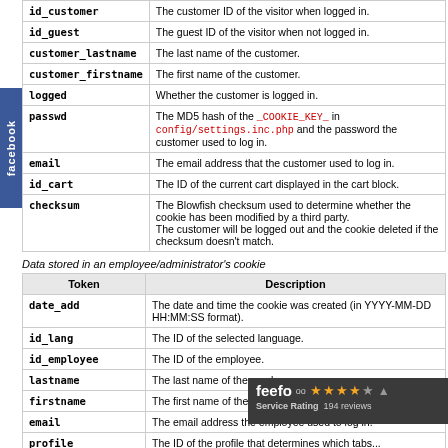| Token | Description |
| --- | --- |
| id_customer | The customer ID of the visitor when logged in. |
| id_guest | The guest ID of the visitor when not logged in. |
| customer_lastname | The last name of the customer. |
| customer_firstname | The first name of the customer. |
| logged | Whether the customer is logged in. |
| passwd | The MD5 hash of the _COOKIE_KEY_ in config/settings.inc.php and the password the customer used to log in. |
| email | The email address that the customer used to log in. |
| id_cart | The ID of the current cart displayed in the cart block. |
| checksum | The Blowfish checksum used to determine whether the cookie has been modified by a third party.
The customer will be logged out and the cookie deleted if the checksum doesn't match. |
Data stored in an employee/administrator's cookie
| Token | Description |
| --- | --- |
| date_add | The date and time the cookie was created (in YYYY-MM-DD HH:MM:SS format). |
| id_lang | The ID of the selected language. |
| id_employee | The ID of the employee. |
| lastname | The last name of the employee. |
| firstname | The first name of the employee. |
| email | The email address the employee used to log in. |
| profile | The ID of the profile that determines which tabs... |
| passwd | The MD5 hash of the _COOKIE_KEY_... |